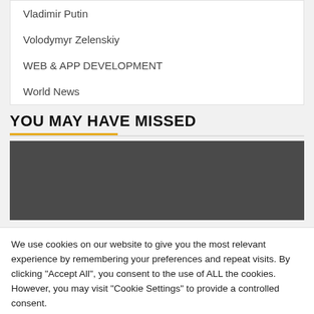Vladimir Putin
Volodymyr Zelenskiy
WEB & APP DEVELOPMENT
World News
YOU MAY HAVE MISSED
[Figure (photo): Dark gray image placeholder for a news article thumbnail]
We use cookies on our website to give you the most relevant experience by remembering your preferences and repeat visits. By clicking "Accept All", you consent to the use of ALL the cookies. However, you may visit "Cookie Settings" to provide a controlled consent.
Cookie Settings | Accept All